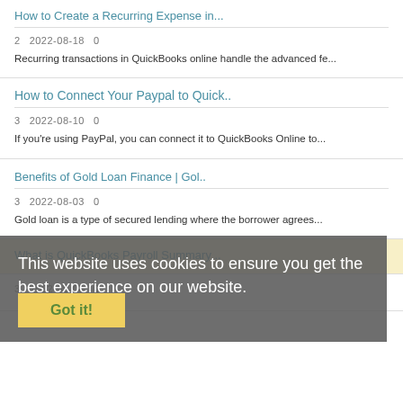How to Create a Recurring Expense in...
2   2022-08-18   0
Recurring transactions in QuickBooks online handle the advanced fe...
How to Connect Your Paypal to Quick..
3   2022-08-10   0
If you're using PayPal, you can connect it to QuickBooks Online to...
Benefits of Gold Loan Finance | Gol..
3   2022-08-03   0
Gold loan is a type of secured lending where the borrower agrees...
What is QuickBooks Payroll Summary ..
3   2022-08-08   0
This website uses cookies to ensure you get the best experience on our website.
Learn more
Got it!